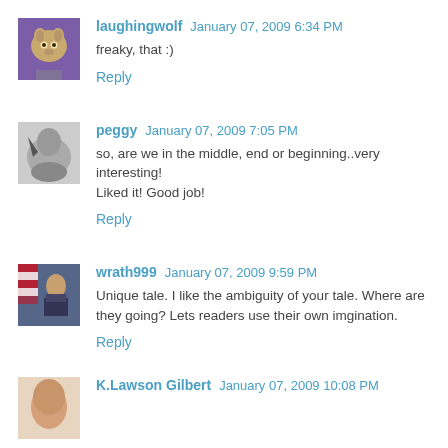[Figure (illustration): Avatar image of laughingwolf: wolf illustration on purple background]
laughingwolf January 07, 2009 6:34 PM
freaky, that :)
Reply
[Figure (illustration): Avatar image of peggy: bird/nature photo in grayscale]
peggy January 07, 2009 7:05 PM
so, are we in the middle, end or beginning..very interesting! Liked it! Good job!
Reply
[Figure (photo): Avatar image of wrath999: person in military/formal uniform with flag in background]
wrath999 January 07, 2009 9:59 PM
Unique tale. I like the ambiguity of your tale. Where are they going? Lets readers use their own imgination.
Reply
[Figure (photo): Avatar image of K.Lawson Gilbert: partial face/portrait photo]
K.Lawson Gilbert January 07, 2009 10:08 PM